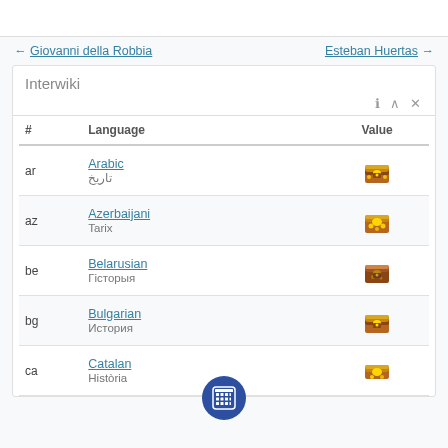← Giovanni della Robbia    Esteban Huertas →
Interwiki
| # | Language | Value |
| --- | --- | --- |
| ar | Arabic
تاريخ | (icon) |
| az | Azerbaijani
Tarix | (icon) |
| be | Belarusian
Гісторыя | (icon) |
| bg | Bulgarian
История | (icon) |
| ca | Catalan
Història | (icon) |